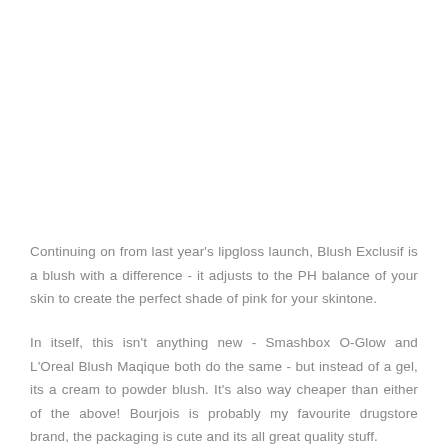Continuing on from last year's lipgloss launch, Blush Exclusif is a blush with a difference - it adjusts to the PH balance of your skin to create the perfect shade of pink for your skintone.
In itself, this isn't anything new - Smashbox O-Glow and L'Oreal Blush Maqique both do the same - but instead of a gel, its a cream to powder blush. It's also way cheaper than either of the above! Bourjois is probably my favourite drugstore brand, the packaging is cute and its all great quality stuff.